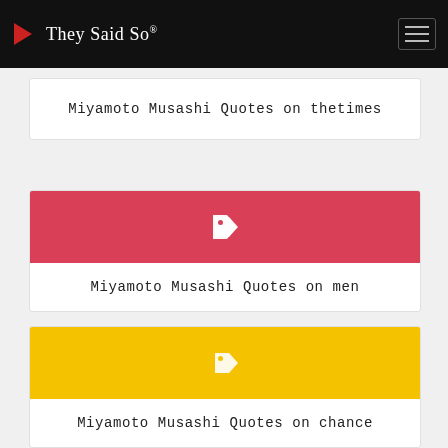They Said So®
Miyamoto Musashi Quotes on thetimes
[Figure (illustration): Red banner with a white tag icon]
Miyamoto Musashi Quotes on men
[Figure (illustration): Yellow banner with a white tag icon]
Miyamoto Musashi Quotes on chance